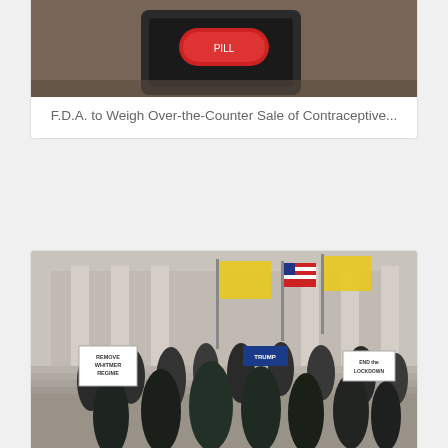[Figure (photo): Top portion of a news card showing a close-up photo of what appears to be a contraceptive or medical device on a surface]
F.D.A. to Weigh Over-the-Counter Sale of Contraceptive...
[Figure (photo): Photo of armed protesters on steps of a government building holding signs including 'Remove Whitmer Regime' and 'End the Lockdown', with yellow Gadsden flags and American flags]
How the states went nuts: Democratic backsliding in state...
[Figure (photo): Bottom portion of a third news card showing protesters or demonstrators with masks]